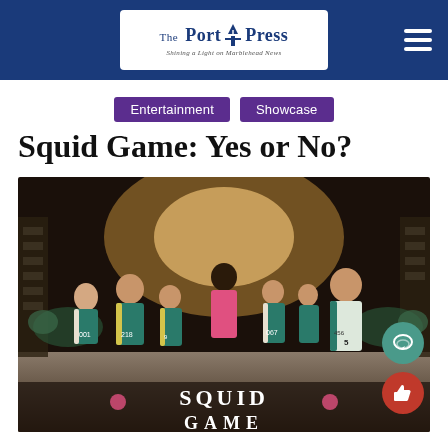The Port Press
Entertainment
Showcase
Squid Game: Yes or No?
[Figure (photo): Squid Game Netflix promotional poster showing main characters in teal tracksuits with numbers (001, 218, 067, 456) facing a person in a pink guard uniform, with 'SQUID GAME' text at the bottom]